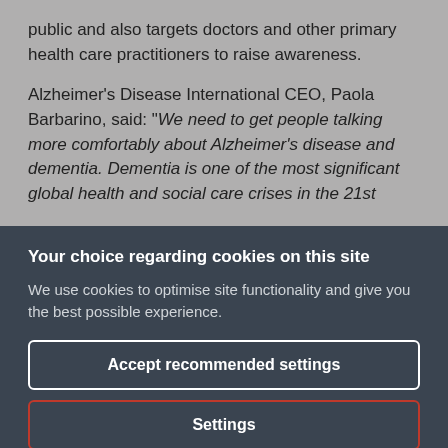public and also targets doctors and other primary health care practitioners to raise awareness.
Alzheimer's Disease International CEO, Paola Barbarino, said: "We need to get people talking more comfortably about Alzheimer's disease and dementia. Dementia is one of the most significant global health and social care crises in the 21st
Your choice regarding cookies on this site
We use cookies to optimise site functionality and give you the best possible experience.
Accept recommended settings
Settings